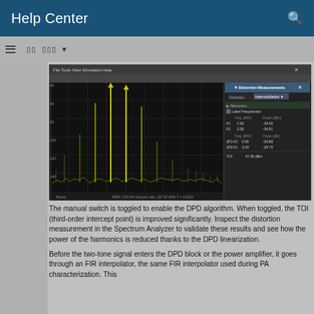Help Center
[Figure (screenshot): Spectrum Analyzer window showing intermodulation distortion measurements with a Distortion Measurements panel on the right displaying harmonic frequencies, powers for F1 (1.92 MHz, -34.46 dBm), F2 (2.59 MHz, -34.81 dBm), and intermodulation products 2F1-F2 (0.99 MHz, -34.88 dBm), 2F2-F1 (3.43 MHz, -25.75 dBm), and TOI: 47.30 dBm]
The manual switch is toggled to enable the DPD algorithm. When toggled, the TOI (third-order intercept point) is improved significantly. Inspect the distortion measurement in the Spectrum Analyzer to validate these results and see how the power of the harmonics is reduced thanks to the DPD linearization.
Before the two-tone signal enters the DPD block or the power amplifier, it goes through an FIR interpolator, the same FIR interpolator used during PA characterization. This